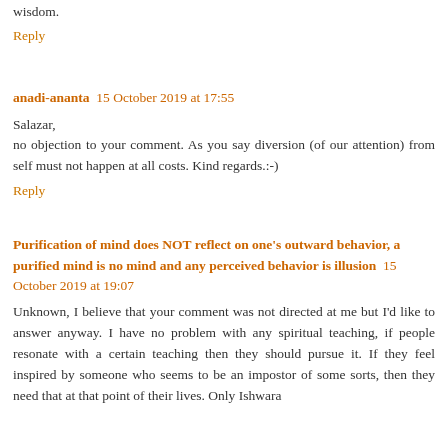wisdom.
Reply
anadi-ananta  15 October 2019 at 17:55
Salazar,
no objection to your comment. As you say diversion (of our attention) from self must not happen at all costs. Kind regards.:-)
Reply
Purification of mind does NOT reflect on one's outward behavior, a purified mind is no mind and any perceived behavior is illusion  15 October 2019 at 19:07
Unknown, I believe that your comment was not directed at me but I'd like to answer anyway. I have no problem with any spiritual teaching, if people resonate with a certain teaching then they should pursue it. If they feel inspired by someone who seems to be an impostor of some sorts, then they need that at that point of their lives. Only Ishwara